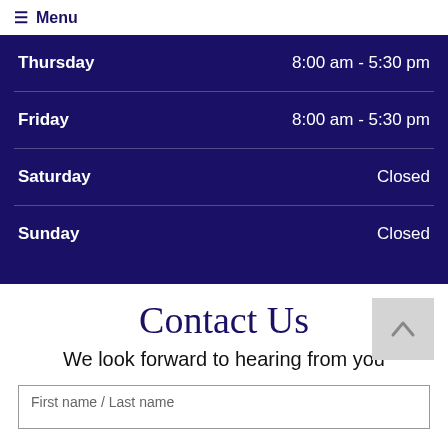☰ Menu
| Day | Hours |
| --- | --- |
| Thursday | 8:00 am - 5:30 pm |
| Friday | 8:00 am - 5:30 pm |
| Saturday | Closed |
| Sunday | Closed |
Contact Us
We look forward to hearing from you
First name / Last name